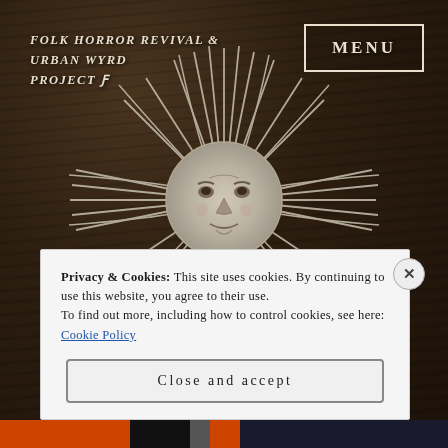[Figure (illustration): Dark wood-textured background with a large decorative sun illustration featuring a human face in the center, with many long radiating rays in silver/gray tones, centered on the page.]
FOLK HORROR REVIVAL & URBAN WYRD PROJECT ƒ
MENU
Privacy & Cookies: This site uses cookies. By continuing to use this website, you agree to their use.
To find out more, including how to control cookies, see here: Cookie Policy
Close and accept